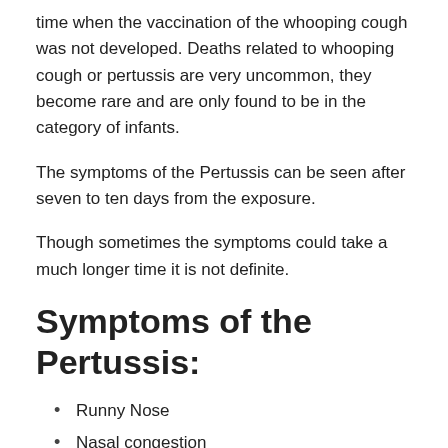time when the vaccination of the whooping cough was not developed. Deaths related to whooping cough or pertussis are very uncommon, they become rare and are only found to be in the category of infants.
The symptoms of the Pertussis can be seen after seven to ten days from the exposure.
Though sometimes the symptoms could take a much longer time it is not definite.
Symptoms of the Pertussis:
Runny Nose
Nasal congestion
Watery eyes
Fever